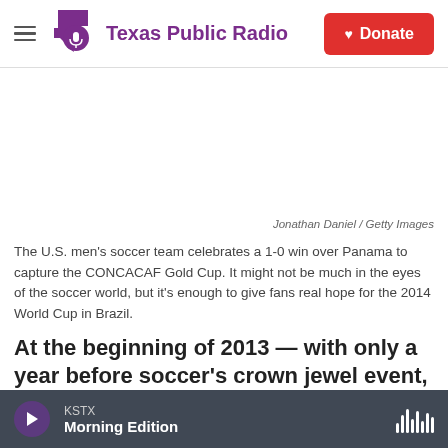Texas Public Radio | Donate
[Figure (photo): Image placeholder area (white/blank) for a photo of the U.S. men's soccer team celebrating]
Jonathan Daniel / Getty Images
The U.S. men's soccer team celebrates a 1-0 win over Panama to capture the CONCACAF Gold Cup. It might not be much in the eyes of the soccer world, but it's enough to give fans real hope for the 2014 World Cup in Brazil.
At the beginning of 2013 — with only a year before soccer's crown jewel event, the World Cup in Brazil
KSTX Morning Edition